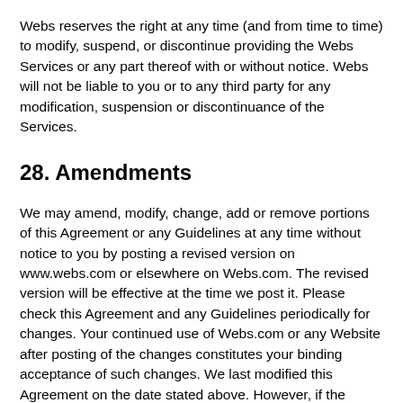Webs reserves the right at any time (and from time to time) to modify, suspend, or discontinue providing the Webs Services or any part thereof with or without notice. Webs will not be liable to you or to any third party for any modification, suspension or discontinuance of the Services.
28. Amendments
We may amend, modify, change, add or remove portions of this Agreement or any Guidelines at any time without notice to you by posting a revised version on www.webs.com or elsewhere on Webs.com. The revised version will be effective at the time we post it. Please check this Agreement and any Guidelines periodically for changes. Your continued use of Webs.com or any Website after posting of the changes constitutes your binding acceptance of such changes. We last modified this Agreement on the date stated above. However, if the revised version includes a material change, it will be effective for an existing User on the earlier of (a) the date you accept it, and (b) 30 days after the material changes are initially posted to www.webs.com or elsewhere on Webs.com. The revised version will apply to you immediately if you are a User who registers or first uses Webs.com on or after the posting of the revised version.